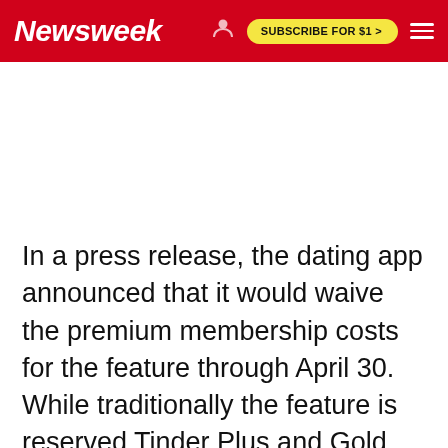Newsweek | SUBSCRIBE FOR $1 >
[Figure (other): Advertisement or blank image area below header]
In a press release, the dating app announced that it would waive the premium membership costs for the feature through April 30. While traditionally the feature is reserved Tinder Plus and Gold members, the app acknowledges that having someone to chat with can make